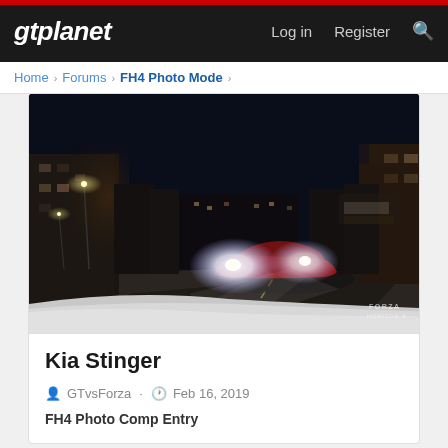gtplanet  Log in  Register
Home > Forums > FH4 Photo Mode >
[Figure (photo): Night scene screenshot from Forza Horizon 4 showing a red Kia Stinger driving on a dark city street with bright headlights, buildings visible on both sides, Forza Horizon 4 watermark in lower right corner.]
Kia Stinger
GTvsForza · Feb 16, 2019
FH4 Photo Comp Entry